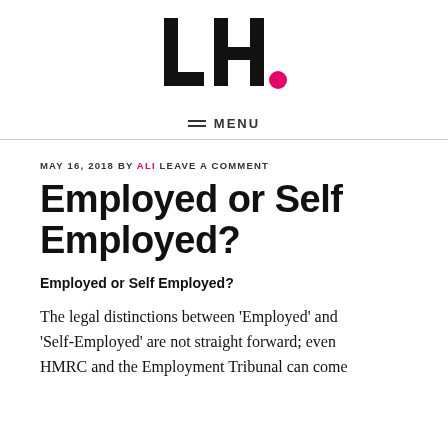LH. MENU
MAY 16, 2018 BY ALI LEAVE A COMMENT
Employed or Self Employed?
Employed or Self Employed?
The legal distinctions between ‘Employed’ and ‘Self-Employed’ are not straight forward; even HMRC and the Employment Tribunal can come